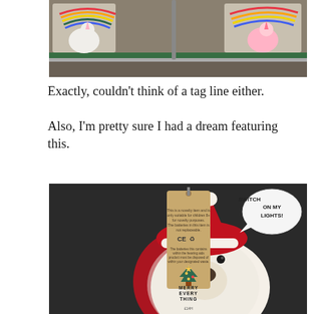[Figure (photo): Photo of store shelf with unicorn plush toys in packaging]
Exactly, couldn’t think of a tag line either.
Also, I’m pretty sure I had a dream featuring this.
[Figure (photo): Photo of a Christmas sweater featuring a polar bear wearing a Santa hat with fluffy 3D texture, a speech bubble saying SWITCH ON MY LIGHTS!, and a kraft paper tag reading MERRY EVERY THING with a Christmas tree graphic]